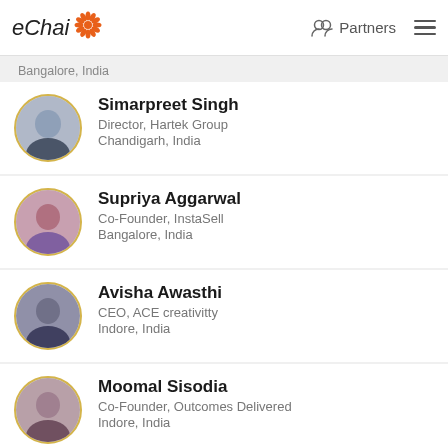eChai | Partners
Bangalore, India
Simarpreet Singh
Director, Hartek Group
Chandigarh, India
Supriya Aggarwal
Co-Founder, InstaSell
Bangalore, India
Avisha Awasthi
CEO, ACE creativitty
Indore, India
Moomal Sisodia
Co-Founder, Outcomes Delivered
Indore, India
Deval Dave Joshi
Founder, Deval The Coach
Vadodara, India
Saurabh Rao